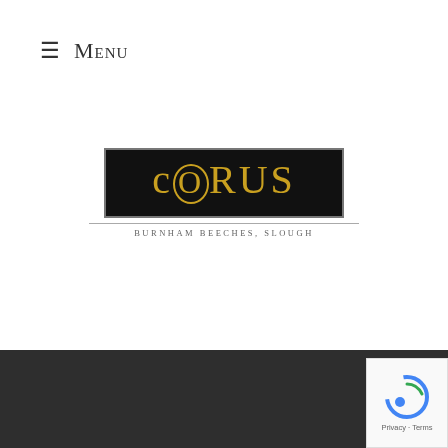≡ Menu
[Figure (logo): Corus Hotel logo — black rectangle with gold lettering 'cORUS' and subtitle 'BURNHAM BEECHES, SLOUGH']
Email Address
Subscribe
I agree to the privacy policy
[Figure (logo): Corus Hotel footer logo — dark background with gold lettering 'cORUS']
[Figure (other): Google reCAPTCHA badge with Privacy and Terms links]